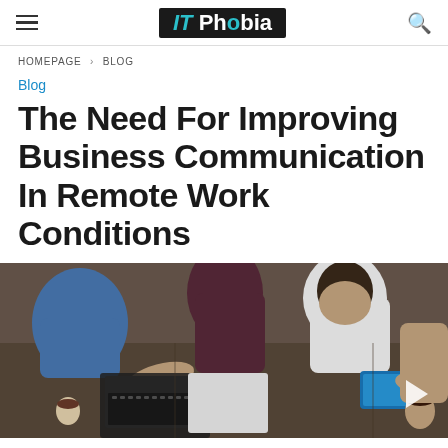IT Phobia [logo] [hamburger menu] [search icon]
HOMEPAGE › BLOG
Blog
The Need For Improving Business Communication In Remote Work Conditions
[Figure (photo): Overhead view of people working at a table with laptops, tablets, and notebooks in an office/team setting]